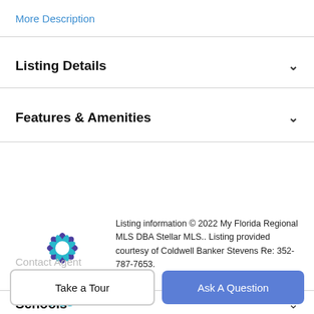More Description
Listing Details
Features & Amenities
[Figure (logo): Stellar MLS logo — snowflake-style star in teal and purple with 'Stellar MLS' text]
Listing information © 2022 My Florida Regional MLS DBA Stellar MLS.. Listing provided courtesy of Coldwell Banker Stevens Re: 352-787-7653.
Schools
Payment Calculator
Contact Agent
Take a Tour
Ask A Question